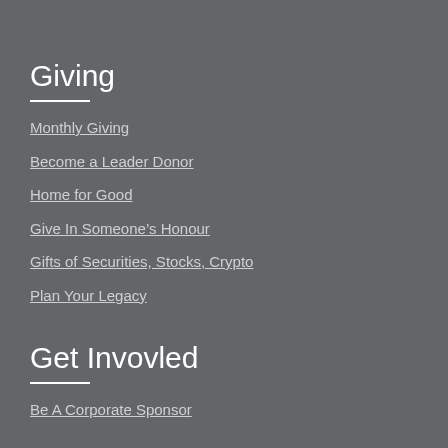Giving
Monthly Giving
Become a Leader Donor
Home for Good
Give In Someone’s Honour
Gifts of Securities, Stocks, Crypto
Plan Your Legacy
Get Invovled
Be A Corporate Sponsor